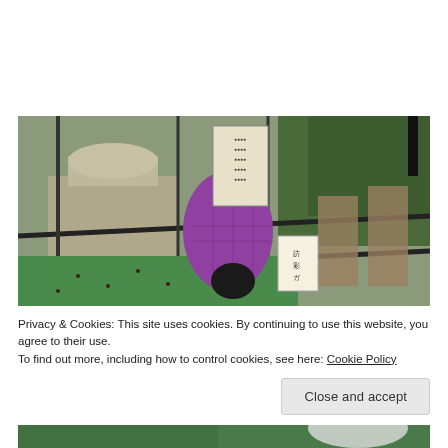[Figure (photo): Outdoor photo at a Japanese shrine or temple: a stone artifact/monument behind metal railings on the left, a person in a purple/pink quilted jacket bowing or praying in the center, a wooden fence and green shrubs on the right, green tarp on the ground with scattered seeds/nuts, and a small sign with Japanese text.]
Privacy & Cookies: This site uses cookies. By continuing to use this website, you agree to their use.
To find out more, including how to control cookies, see here: Cookie Policy
Close and accept
[Figure (photo): Partial view of another outdoor photo at the bottom of the page, showing green tarp and some white/light colored object.]